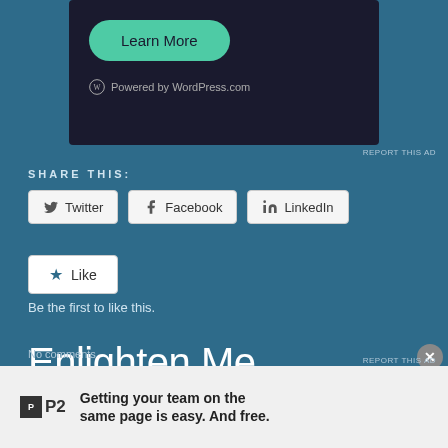[Figure (screenshot): WordPress.com ad banner with 'Learn More' green button and 'Powered by WordPress.com' footer on dark background]
REPORT THIS AD
SHARE THIS:
Twitter  Facebook  LinkedIn
Like
Be the first to like this.
Enlighten Me
Daughter. Sister. Wife. Friend. Producer. Master Multi-tasker.
No comments
[Figure (screenshot): P2 advertisement: 'Getting your team on the same page is easy. And free.']